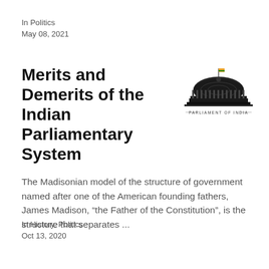In Politics
May 08, 2021
Merits and Demerits of the Indian Parliamentary System
[Figure (logo): Parliament of India building logo with text 'PARLIAMENT OF INDIA' below]
The Madisonian model of the structure of government named after one of the American founding fathers, James Madison, “the Father of the Constitution”, is the structure that separates ...
In History, Politics
Oct 13, 2020